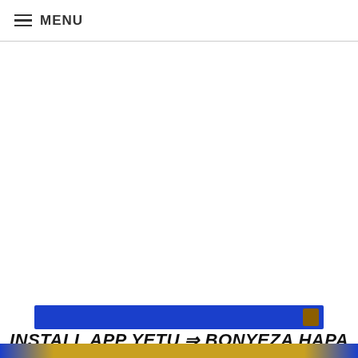≡ MENU
[Figure (other): Large white/blank content area below navigation header]
[Figure (infographic): Blue banner bar with brown icon, followed by bold text reading: INSTALL APP YETU ⇒ BONYEZA HAPA, and a decorative image strip at the bottom]